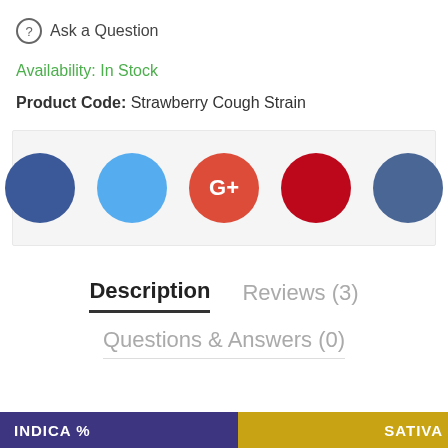? Ask a Question
Availability: In Stock
Product Code: Strawberry Cough Strain
[Figure (other): Row of five social media share buttons as colored circles: Facebook (dark blue), Twitter (light blue), Google+ (red-orange with G+ text), Pinterest (red), LinkedIn (slate blue)]
Description   Reviews (3)
Questions & Answers (0)
INDICA %   SATIVA %